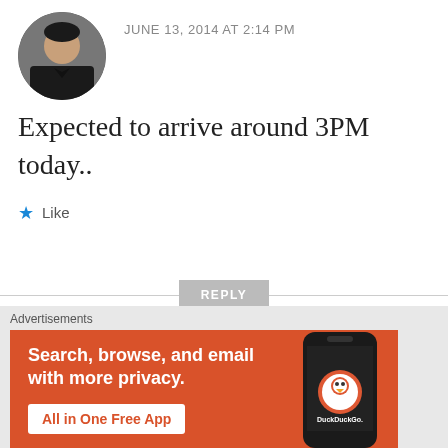[Figure (photo): Circular avatar photo of a man in a dark shirt]
JUNE 13, 2014 AT 2:14 PM
Expected to arrive around 3PM today..
★ Like
REPLY
[Figure (logo): Green geometric diamond/quilt pattern avatar icon]
asif
JUNE 13, 2014 AT
2:56 PM
Advertisements
[Figure (infographic): DuckDuckGo advertisement banner: orange background with text 'Search, browse, and email with more privacy. All in One Free App' and phone image with DuckDuckGo logo]